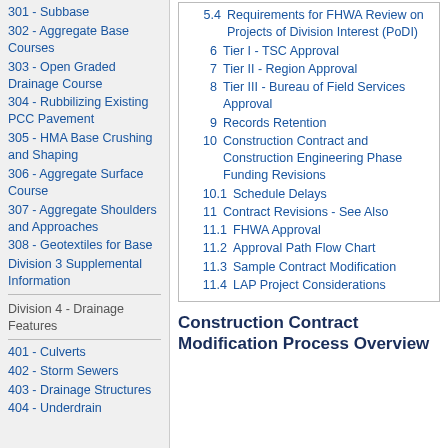301 - Subbase
302 - Aggregate Base Courses
303 - Open Graded Drainage Course
304 - Rubbilizing Existing PCC Pavement
305 - HMA Base Crushing and Shaping
306 - Aggregate Surface Course
307 - Aggregate Shoulders and Approaches
308 - Geotextiles for Base
Division 3 Supplemental Information
Division 4 - Drainage Features
401 - Culverts
402 - Storm Sewers
403 - Drainage Structures
404 - Underdrain
5.4  Requirements for FHWA Review on Projects of Division Interest (PoDI)
6  Tier I - TSC Approval
7  Tier II - Region Approval
8  Tier III - Bureau of Field Services Approval
9  Records Retention
10  Construction Contract and Construction Engineering Phase Funding Revisions
10.1  Schedule Delays
11  Contract Revisions - See Also
11.1  FHWA Approval
11.2  Approval Path Flow Chart
11.3  Sample Contract Modification
11.4  LAP Project Considerations
Construction Contract Modification Process Overview